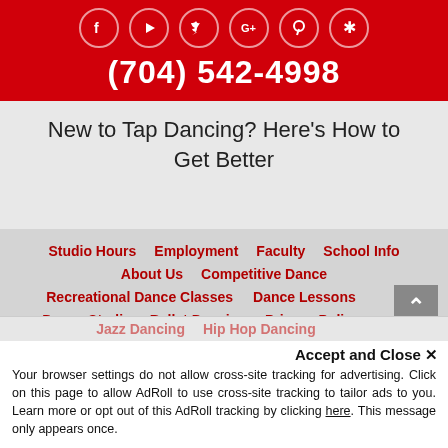[Figure (other): Red header with social media icons (Facebook, YouTube, Twitter, Google+, Pinterest, and asterisk/misc) displayed in circular white-bordered buttons]
(704) 542-4998
New to Tap Dancing? Here's How to Get Better
Studio Hours
Employment
Faculty
School Info
About Us
Competitive Dance
Recreational Dance Classes
Dance Lessons
Dance Studio
Ballet Dancing
Privacy Policy
Dance Academy
Dance Instructor
Tap Dancing
Jazz Dancing
Hip Hop Dancing
Accept and Close ✕
Your browser settings do not allow cross-site tracking for advertising. Click on this page to allow AdRoll to use cross-site tracking to tailor ads to you. Learn more or opt out of this AdRoll tracking by clicking here. This message only appears once.